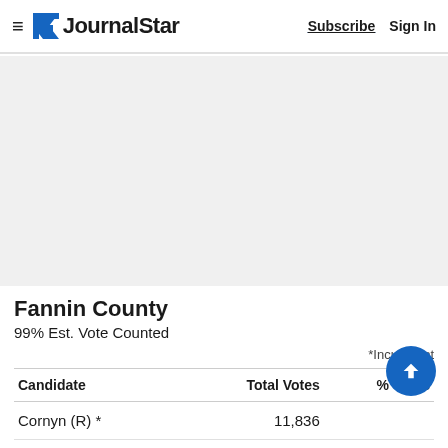Journal Star — Subscribe | Sign In
[Figure (other): Gray advertisement placeholder area]
Fannin County
99% Est. Vote Counted
*Incumbent
| Candidate | Total Votes | % Votes |
| --- | --- | --- |
| Cornyn (R) * | 11,836 |  |
| Hegar (D) | 2,559 | 17.4% |